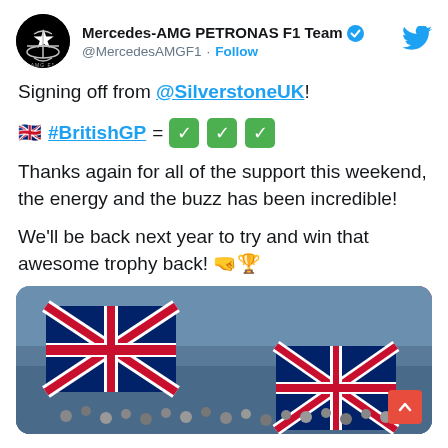Mercedes-AMG PETRONAS F1 Team @MercedesAMGF1 · Follow
Signing off from @SilverstoneUK!
🇬🇧 #BritishGP = ✅✅✅
Thanks again for all of the support this weekend, the energy and the buzz has been incredible!
We'll be back next year to try and win that awesome trophy back! 🤜🏆
[Figure (photo): Crowd of spectators at Silverstone holding large Union Jack flags, sunny day at the British Grand Prix]